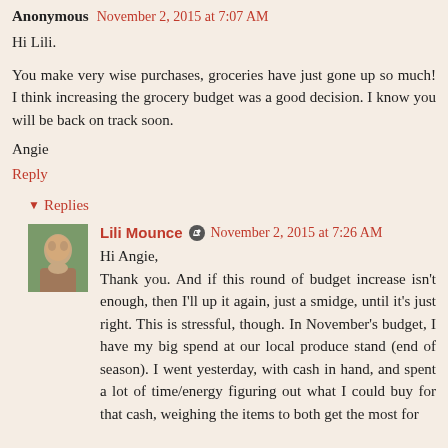Anonymous November 2, 2015 at 7:07 AM
Hi Lili.
You make very wise purchases, groceries have just gone up so much! I think increasing the grocery budget was a good decision. I know you will be back on track soon.
Angie
Reply
Replies
Lili Mounce November 2, 2015 at 7:26 AM
Hi Angie,
Thank you. And if this round of budget increase isn't enough, then I'll up it again, just a smidge, until it's just right. This is stressful, though. In November's budget, I have my big spend at our local produce stand (end of season). I went yesterday, with cash in hand, and spent a lot of time/energy figuring out what I could buy for that cash, weighing the items to both get the most for